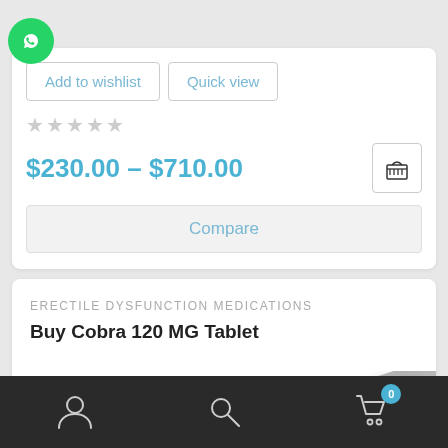[Figure (screenshot): WhatsApp contact button (green circle with phone handset icon)]
Add to wishlist | Quick view
★★★★★ (empty stars)
$230.00 – $710.00
[Figure (illustration): Shopping basket / cart icon]
Compare
ERECTILE DYSFUNCTION MEDICATIONS
Buy Cobra 120 MG Tablet
[Figure (photo): Gray tablet/pill image partially visible at bottom right of card]
Account | Search | Cart (0)